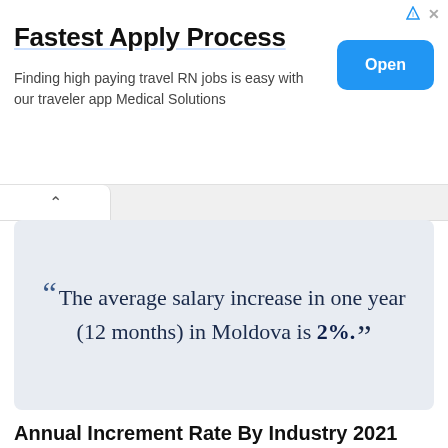[Figure (other): Advertisement banner: 'Fastest Apply Process' with text 'Finding high paying travel RN jobs is easy with our traveler app Medical Solutions' and an 'Open' button]
“The average salary increase in one year (12 months) in Moldova is 2%.”
Annual Increment Rate By Industry 2021